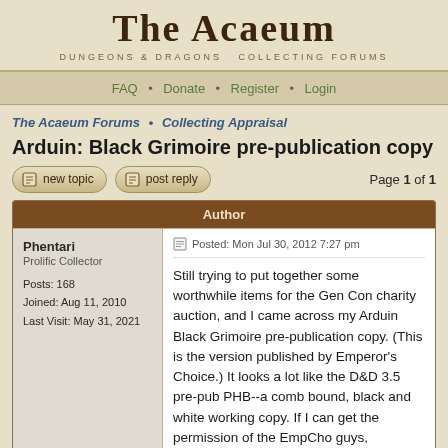The Acaeum — Dungeons & Dragons Collecting Forums
FAQ • Donate • Register • Login
The Acaeum Forums • Collecting Appraisal
Arduin: Black Grimoire pre-publication copy
Page 1 of 1
| Author | Post |
| --- | --- |
| Phentari
Prolific Collector

Posts: 168
Joined: Aug 11, 2010
Last Visit: May 31, 2021 | Posted: Mon Jul 30, 2012 7:27 pm

Still trying to put together some worthwhile items for the Gen Con charity auction, and I came across my Arduin Black Grimoire pre-publication copy.  (This is the version published by Emperor's Choice.)  It looks a lot like the D&D 3.5 pre-pub PHB--a comb bound, black and white working copy.  If I can get the permission of the EmpCho guys, |